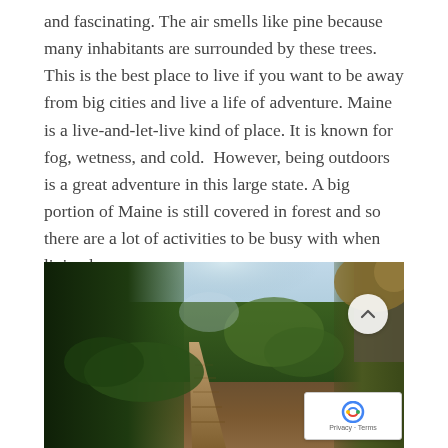and fascinating. The air smells like pine because many inhabitants are surrounded by these trees. This is the best place to live if you want to be away from big cities and live a life of adventure. Maine is a live-and-let-live kind of place. It is known for fog, wetness, and cold.  However, being outdoors is a great adventure in this large state. A big portion of Maine is still covered in forest and so there are a lot of activities to be busy with when living here.
[Figure (photo): A forest trail with a wooden boardwalk path winding through dense green trees, photographed in natural daylight. Trees line both sides of the path, with light visible through the canopy above.]